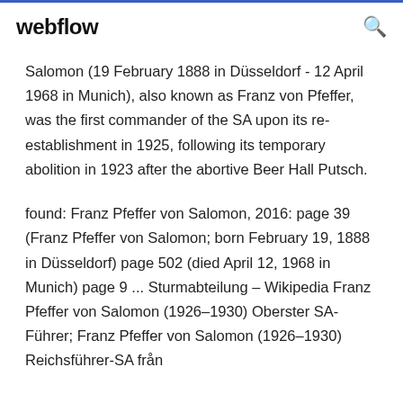webflow
Salomon (19 February 1888 in Düsseldorf - 12 April 1968 in Munich), also known as Franz von Pfeffer, was the first commander of the SA upon its re-establishment in 1925, following its temporary abolition in 1923 after the abortive Beer Hall Putsch.
found: Franz Pfeffer von Salomon, 2016: page 39 (Franz Pfeffer von Salomon; born February 19, 1888 in Düsseldorf) page 502 (died April 12, 1968 in Munich) page 9 ... Sturmabteilung – Wikipedia Franz Pfeffer von Salomon (1926–1930) Oberster SA-Führer; Franz Pfeffer von Salomon (1926–1930) Reichsführer-SA från